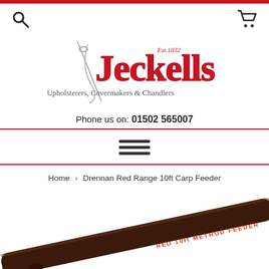Jeckells — Upholsterers, Covermakers & Chandlers, Est. 1832
Phone us on: 01502 565007
[Figure (other): Hamburger menu icon — three horizontal bars]
Home › Drennan Red Range 10ft Carp Feeder
[Figure (photo): Fishing rod with text 'RED 10ft METHOD FEEDER' visible along the blank, shown diagonally from bottom-left corner]